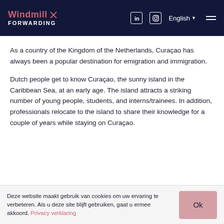Windmill FORWARDING — English (navigation header with LinkedIn, Instagram icons)
As a country of the Kingdom of the Netherlands, Curaçao has always been a popular destination for emigration and immigration.
Dutch people get to know Curaçao, the sunny island in the Caribbean Sea, at an early age. The island attracts a striking number of young people, students, and interns/trainees. In addition, professionals relocate to the island to share their knowledge for a couple of years while staying on Curaçao.
Deze website maakt gebruik van cookies om uw ervaring te verbeteren. Als u deze site blijft gebruiken, gaat u ermee akkoord. Privacy verklaring